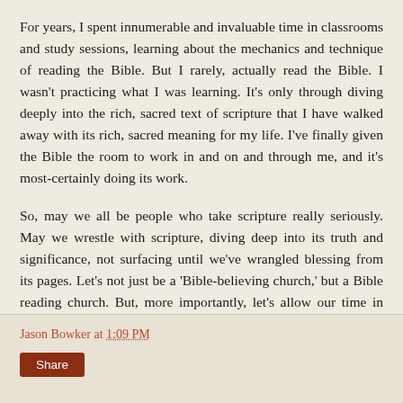For years, I spent innumerable and invaluable time in classrooms and study sessions, learning about the mechanics and technique of reading the Bible. But I rarely, actually read the Bible. I wasn't practicing what I was learning. It's only through diving deeply into the rich, sacred text of scripture that I have walked away with its rich, sacred meaning for my life. I've finally given the Bible the room to work in and on and through me, and it's most-certainly doing its work.
So, may we all be people who take scripture really seriously. May we wrestle with scripture, diving deep into its truth and significance, not surfacing until we've wrangled blessing from its pages. Let's not just be a 'Bible-believing church,' but a Bible reading church. But, more importantly, let's allow our time in scripture to actually mold us into more committed followers of Jesus.
Jason Bowker at 1:09 PM